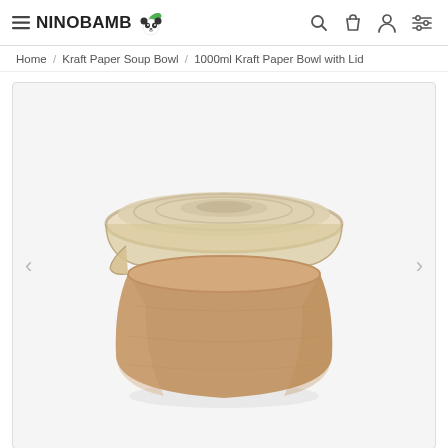NINOBAMBO [logo with panda] — navigation icons: search, cart, account, settings
Home / Kraft Paper Soup Bowl / 1000ml Kraft Paper Bowl with Lid
[Figure (photo): A kraft paper soup bowl (1000ml) with a clear plastic lid, shown from a slightly elevated angle. The bowl is light brown/tan kraft paper with a wide circular clear lid on top. Navigation arrows (< >) appear on either side of the image within a light gray bordered container.]